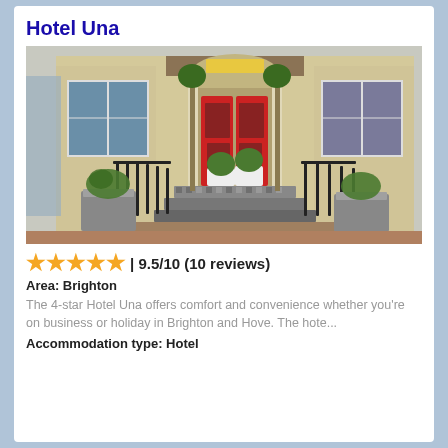Hotel Una
[Figure (photo): Exterior of Hotel Una showing a cream-coloured Victorian building facade with a bright red double door, tiled steps, iron railings, potted topiary plants, and large windows.]
★★★★★ | 9.5/10 (10 reviews)
Area: Brighton
The 4-star Hotel Una offers comfort and convenience whether you're on business or holiday in Brighton and Hove. The hote...
Accommodation type: Hotel